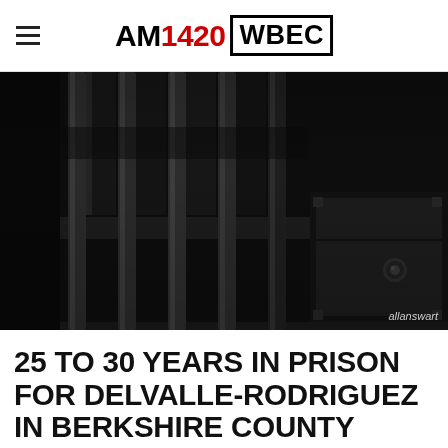AM 1420 WBEC
[Figure (photo): Dark close-up photograph of prison cell bars with a metal slot/door visible, dark moody lighting. Photo credit: allanswart]
allanswart
25 TO 30 YEARS IN PRISON FOR DELVALLE-RODRIGUEZ IN BERKSHIRE COUNTY SHOOTING